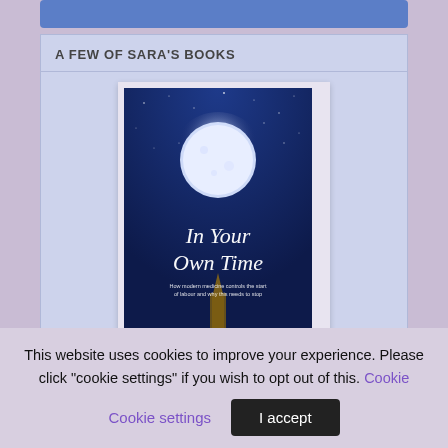A FEW OF SARA'S BOOKS
[Figure (photo): Book cover of 'In Your Own Time' — navy blue background with a large full moon and a church steeple silhouette, with script title text and subtitle 'How modern medicine controls the start of labour and why this needs to stop']
This website uses cookies to improve your experience. Please click "cookie settings" if you wish to opt out of this. Cookie settings | I accept